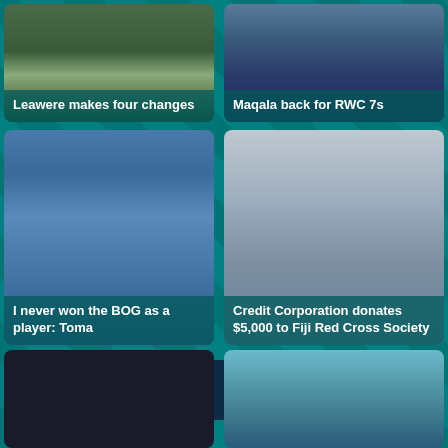[Figure (photo): Rugby players on field, team lined up, green pitch visible]
Leawere makes four changes
[Figure (photo): Rugby player holding ball, wearing dark jersey with Fiji colors]
Maqala back for RWC 7s
[Figure (photo): Man wearing blue Adidas cap and blue polo shirt, smiling, stadium seating in background]
I never won the BOG as a player: Toma
[Figure (photo): Credit Corporation banner and Fiji Red Cross Society logo, two women standing in front]
Credit Corporation donates $5,000 to Fiji Red Cross Society
[Figure (photo): Dark advertisement banner placeholder]
[Figure (photo): Rugby match action shot, players at night]
[Figure (photo): Person against blue sky background]